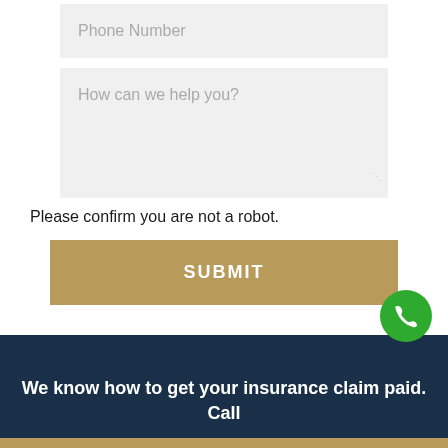Phone Number
How can we help you?
Please confirm you are not a robot.
SUBMIT
We know how to get your insurance claim paid. Call today at: (510) 230-2090